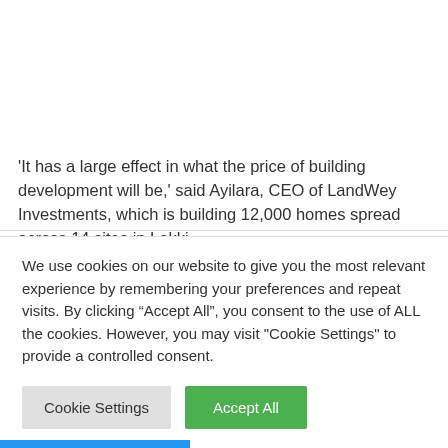‘It has a large effect in what the price of building development will be,’ said Ayilara, CEO of LandWey Investments, which is building 12,000 homes spread across 14 sites in Lekki.
We use cookies on our website to give you the most relevant experience by remembering your preferences and repeat visits. By clicking “Accept All”, you consent to the use of ALL the cookies. However, you may visit "Cookie Settings" to provide a controlled consent.